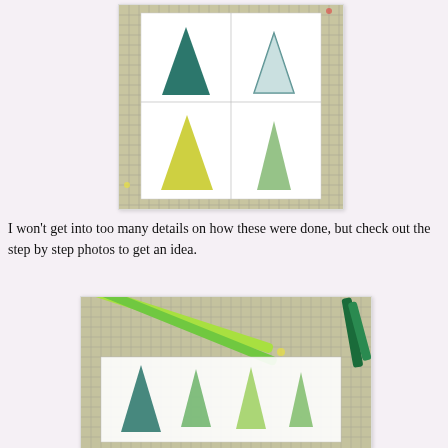[Figure (photo): A white card with four triangle/tree shapes stamped or drawn in different shades of green and yellow-green, arranged in a 2x2 grid. The card sits on a grid cutting mat with colorful paint spots.]
I won't get into too many details on how these were done, but check out the step by step photos to get an idea.
[Figure (photo): A close-up photo showing green and yellow-green colored pencils or markers laid on a grid cutting mat, with white paper cards showing stamped tree/triangle shapes in progress.]